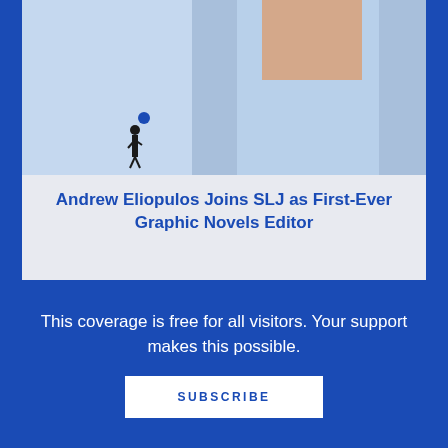[Figure (photo): Photo of Andrew Eliopulos, a man in a light blue shirt, with a small illustrated figure of a person below him on the left side]
Andrew Eliopulos Joins SLJ as First-Ever Graphic Novels Editor
[Figure (photo): Kid Lit Collective 2022 Summer Reading List banner showing several children's book covers with text 'We Are Kid Lit Collective', '2022 SUMMER READING LIST', and 'Chapter Books/Beginning Readers']
This coverage is free for all visitors. Your support makes this possible.
SUBSCRIBE